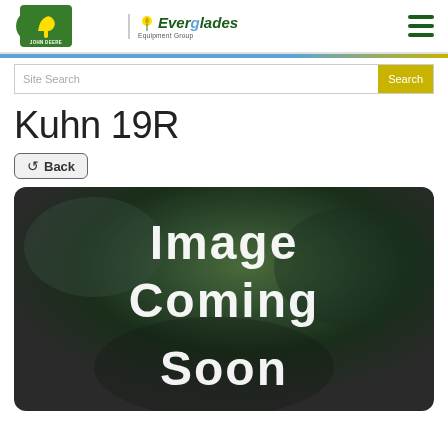John Deere | Everglades Equipment Group
Kuhn 19R
Back
[Figure (photo): Image Coming Soon placeholder with blurred dark background and large white bold text reading 'Image Coming Soon']